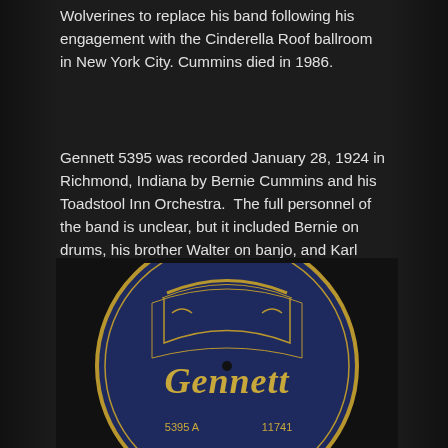Wolverines to replace his band following his engagement with the Cinderella Roof ballroom in New York City. Cummins died in 1986.
Gennett 5395 was recorded January 28, 1924 in Richmond, Indiana by Bernie Cummins and his Toadstool Inn Orchestra.  The full personnel of the band is unclear, but it included Bernie on drums, his brother Walter on banjo, and Karl Radlach on piano.  The Toadstool Inn was a speakeasy in Cincinnati, Ohio.
“Home Folks Blues” is an energetic jazz number with plenty of “doo wacka doo” in it.
[Figure (photo): A Gennett record label showing 'Gennett' in ornate Gothic lettering on a dark blue/navy circular label with gold decorative border. Partial text visible: 5395 and 11741 at the bottom.]